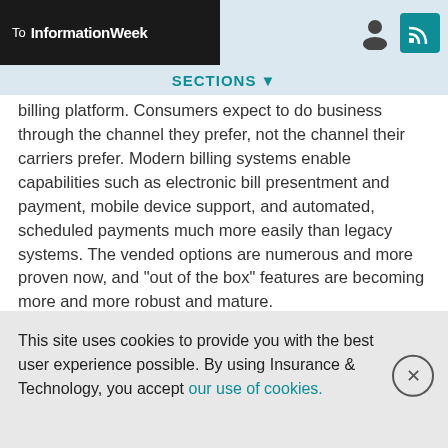To InformationWeek | SECTIONS
billing platform. Consumers expect to do business through the channel they prefer, not the channel their carriers prefer. Modern billing systems enable capabilities such as electronic bill presentment and payment, mobile device support, and automated, scheduled payments much more easily than legacy systems. The vended options are numerous and more proven now, and "out of the box" features are becoming more and more robust and mature.
Modern billing platforms offer flexibility and enhanced automation over legacy technology. Vended solutions today offer many bill plan options, payment methods and invoicing
This site uses cookies to provide you with the best user experience possible. By using Insurance & Technology, you accept our use of cookies.